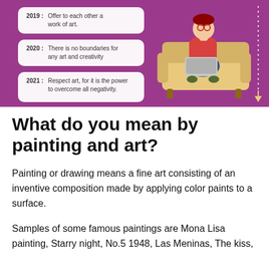[Figure (illustration): Purple/magenta background infographic with a 3D character sitting on a beige sofa using a laptop. On the left, three rounded rectangular labels show: '2019: Offer to each other a work of art.', '2020: There is no boundaries for any art and creativity', '2021: Respect art, for it is the power to overcome all negativity.' A vertical dotted timeline with a downward arrow appears on the right side.]
What do you mean by painting and art?
Painting or drawing means a fine art consisting of an inventive composition made by applying color paints to a surface.
Samples of some famous paintings are Mona Lisa painting, Starry night, No.5 1948, Las Meninas, The kiss,